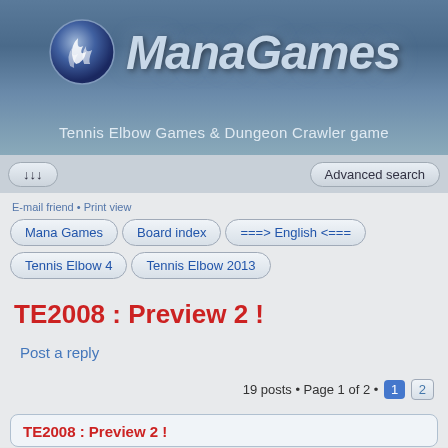[Figure (logo): ManaGames logo with blue flame/orb icon and stylized italic text 'ManaGames']
Tennis Elbow Games & Dungeon Crawler game
↓↓↓   Advanced search
E-mail friend • Print view
Mana Games   Board index   ===> English <===
Tennis Elbow 4   Tennis Elbow 2013
TE2008 : Preview 2 !
Post a reply
19 posts • Page 1 of 2 • 1 2
TE2008 : Preview 2 !